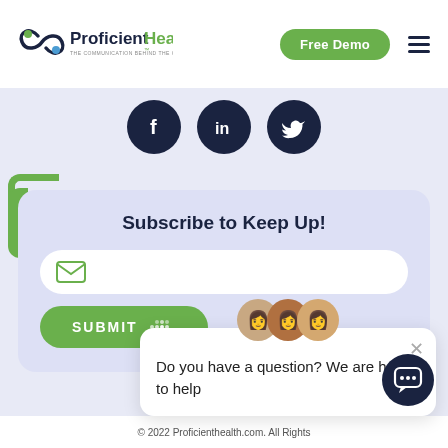[Figure (logo): Proficient Health logo with tagline 'THE COMMUNICATION BEHIND THE CARE']
[Figure (screenshot): Free Demo green pill button and hamburger menu icon in header]
[Figure (infographic): Three dark navy social media icons: Facebook (f), LinkedIn (in), Twitter (bird)]
Subscribe to Keep Up!
[Figure (screenshot): Email input field with envelope icon and green SUBMIT button]
[Figure (screenshot): Chat popup with team avatars, close X button, and text: Do you have a question? We are here to help]
[Figure (screenshot): Dark navy chat bubble icon bottom right]
© 2022 Proficienthealth.com. All Rights